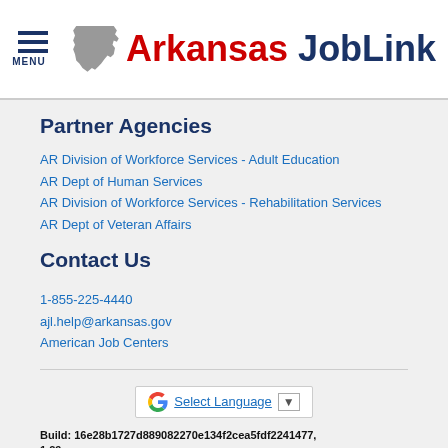MENU | Arkansas JobLink
Partner Agencies
AR Division of Workforce Services - Adult Education
AR Dept of Human Services
AR Division of Workforce Services - Rehabilitation Services
AR Dept of Veteran Affairs
Contact Us
1-855-225-4440
ajl.help@arkansas.gov
American Job Centers
[Figure (other): Google Translate widget with Select Language button and dropdown arrow]
Build: 16e28b1727d889082270e134f2cea5fdf2241477, 1.29